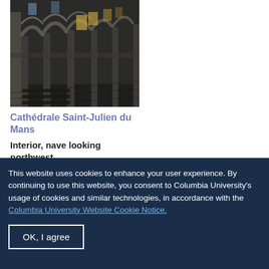[Figure (photo): Interior photograph of Cathédrale Saint-Julien du Mans showing the nave looking northwest, with Romanesque stone arches, tall columns, and stained glass windows visible in the background.]
Cathédrale Saint-Julien du Mans
Interior, nave looking northwest
This website uses cookies to enhance your user experience. By continuing to use this website, you consent to Columbia University's usage of cookies and similar technologies, in accordance with the Columbia University Website Cookie Notice.
OK, I agree